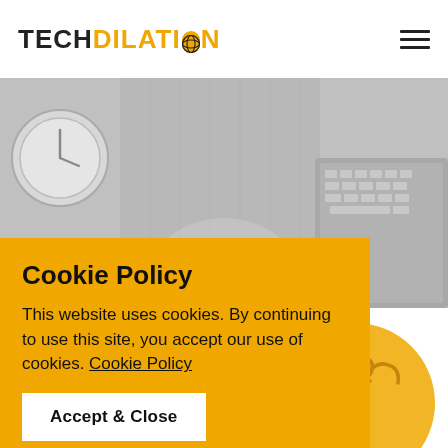TECH DILATION
[Figure (photo): Grayscale background photo of a laptop keyboard and clock on a desk]
Cookie Policy
This website uses cookies. By continuing to use this site, you accept our use of cookies. Cookie Policy
Accept & Close